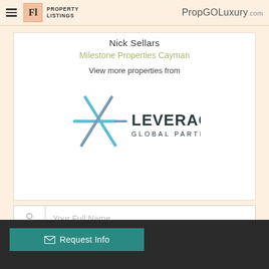FL PROPERTY LISTINGS | PropGOLuxury.com
Nick Sellars
Milestone Properties Cayman
View more properties from
[Figure (logo): Leverage Global Partners logo — an X-shaped asterisk in teal/blue with 'LEVERAGE GLOBAL PARTNERS' text]
Your Full Name
Phone, e.g. +(country)-(number)
Request Info